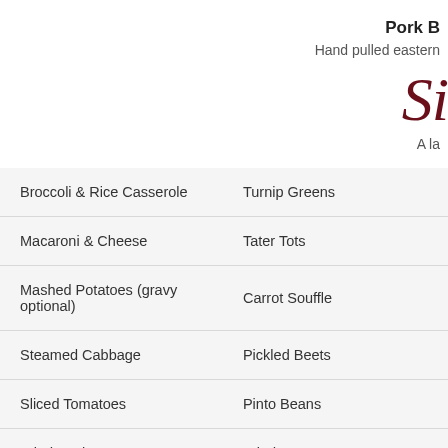Pork B
Hand pulled eastern
Si
A la
| Item | Item |
| --- | --- |
| Broccoli & Rice Casserole | Turnip Greens |
| Macaroni & Cheese | Tater Tots |
| Mashed Potatoes (gravy optional) | Carrot Souffle |
| Steamed Cabbage | Pickled Beets |
| Sliced Tomatoes | Pinto Beans |
| Fried Apples | Fried Green Tomatoes |